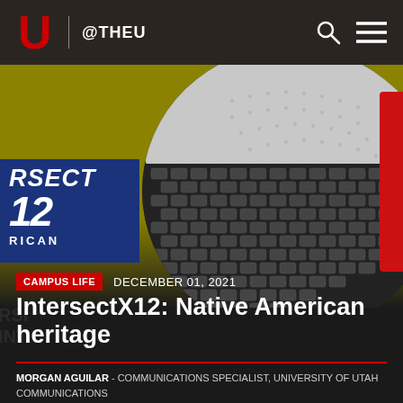U @THEU
[Figure (photo): Hero image of IntersectX12 event — yellow-green background with a large circular close-up of a woven/textured ball with dark scale-like pattern, a blue event sign partially visible on the left reading 'RSECT / 12 / RICAN', and a red figure on the right edge.]
CAMPUS LIFE   DECEMBER 01, 2021
IntersectX12: Native American heritage
MORGAN AGUILAR - COMMUNICATIONS SPECIALIST, UNIVERSITY OF UTAH COMMUNICATIONS